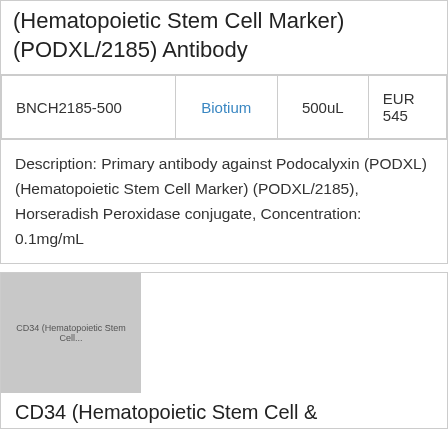(Hematopoietic Stem Cell Marker) (PODXL/2185) Antibody
|  | Supplier | Volume | Price |
| --- | --- | --- | --- |
| BNCH2185-500 | Biotium | 500uL | EUR 545 |
Description: Primary antibody against Podocalyxin (PODXL) (Hematopoietic Stem Cell Marker) (PODXL/2185), Horseradish Peroxidase conjugate, Concentration: 0.1mg/mL
[Figure (photo): Thumbnail image placeholder for CD34 (Hematopoietic Stem Cell ...) antibody product]
CD34 (Hematopoietic Stem Cell &